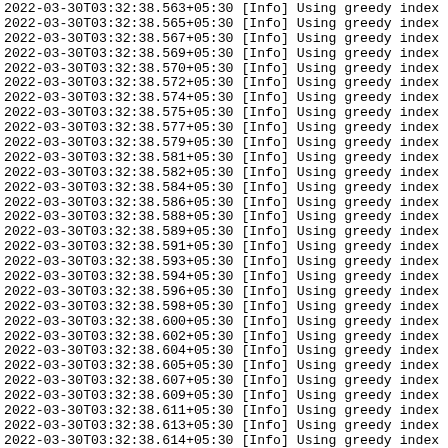2022-03-30T03:32:38.563+05:30 [Info] Using greedy index
2022-03-30T03:32:38.565+05:30 [Info] Using greedy index
2022-03-30T03:32:38.567+05:30 [Info] Using greedy index
2022-03-30T03:32:38.569+05:30 [Info] Using greedy index
2022-03-30T03:32:38.570+05:30 [Info] Using greedy index
2022-03-30T03:32:38.572+05:30 [Info] Using greedy index
2022-03-30T03:32:38.574+05:30 [Info] Using greedy index
2022-03-30T03:32:38.575+05:30 [Info] Using greedy index
2022-03-30T03:32:38.577+05:30 [Info] Using greedy index
2022-03-30T03:32:38.579+05:30 [Info] Using greedy index
2022-03-30T03:32:38.581+05:30 [Info] Using greedy index
2022-03-30T03:32:38.582+05:30 [Info] Using greedy index
2022-03-30T03:32:38.584+05:30 [Info] Using greedy index
2022-03-30T03:32:38.586+05:30 [Info] Using greedy index
2022-03-30T03:32:38.588+05:30 [Info] Using greedy index
2022-03-30T03:32:38.589+05:30 [Info] Using greedy index
2022-03-30T03:32:38.591+05:30 [Info] Using greedy index
2022-03-30T03:32:38.593+05:30 [Info] Using greedy index
2022-03-30T03:32:38.594+05:30 [Info] Using greedy index
2022-03-30T03:32:38.596+05:30 [Info] Using greedy index
2022-03-30T03:32:38.598+05:30 [Info] Using greedy index
2022-03-30T03:32:38.600+05:30 [Info] Using greedy index
2022-03-30T03:32:38.602+05:30 [Info] Using greedy index
2022-03-30T03:32:38.604+05:30 [Info] Using greedy index
2022-03-30T03:32:38.605+05:30 [Info] Using greedy index
2022-03-30T03:32:38.607+05:30 [Info] Using greedy index
2022-03-30T03:32:38.609+05:30 [Info] Using greedy index
2022-03-30T03:32:38.611+05:30 [Info] Using greedy index
2022-03-30T03:32:38.613+05:30 [Info] Using greedy index
2022-03-30T03:32:38.614+05:30 [Info] Using greedy index